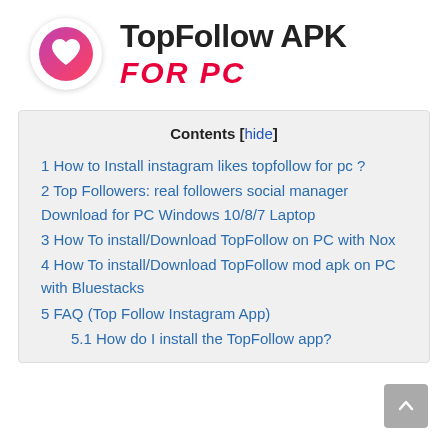[Figure (logo): TopFollow app icon — white circle with pink/purple heart logo]
TopFollow APK FOR PC
| Contents |
| --- |
| 1 How to Install instagram likes topfollow for pc ? |
| 2 Top Followers: real followers social manager Download for PC Windows 10/8/7 Laptop |
| 3 How To install/Download TopFollow on PC with Nox |
| 4 How To install/Download TopFollow mod apk on PC with Bluestacks |
| 5 FAQ (Top Follow Instagram App) |
| 5.1 How do I install the TopFollow app? |